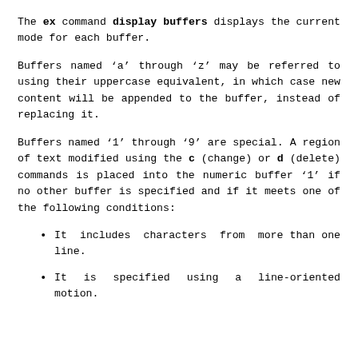The ex command display buffers displays the current mode for each buffer.
Buffers named 'a' through 'z' may be referred to using their uppercase equivalent, in which case new content will be appended to the buffer, instead of replacing it.
Buffers named '1' through '9' are special. A region of text modified using the c (change) or d (delete) commands is placed into the numeric buffer '1' if no other buffer is specified and if it meets one of the following conditions:
It includes characters from more than one line.
It is specified using a line-oriented motion.